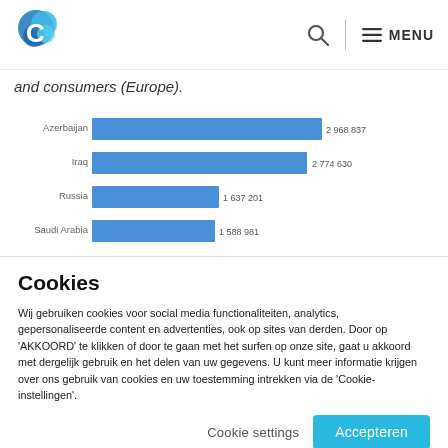Logo and navigation with search and MENU
and consumers (Europe).
[Figure (bar-chart): Bar chart showing values by country]
Cookies
Wij gebruiken cookies voor social media functionaliteiten, analytics, gepersonaliseerde content en advertenties, ook op sites van derden. Door op 'AKKOORD' te klikken of door te gaan met het surfen op onze site, gaat u akkoord met dergelijk gebruik en het delen van uw gegevens. U kunt meer informatie krijgen over ons gebruik van cookies en uw toestemming intrekken via de 'Cookie-instellingen'.
Cookie settings   Accepteren